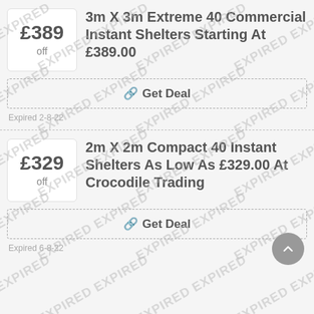[Figure (other): Price badge showing £389 off]
3m X 3m Extreme 40 Commercial Instant Shelters Starting At £389.00
Get Deal
Expired 2-8-22
[Figure (other): Price badge showing £329 off]
2m X 2m Compact 40 Instant Shelters As Low As £329.00 At Crocodile Trading
Get Deal
Expired 6-8-22